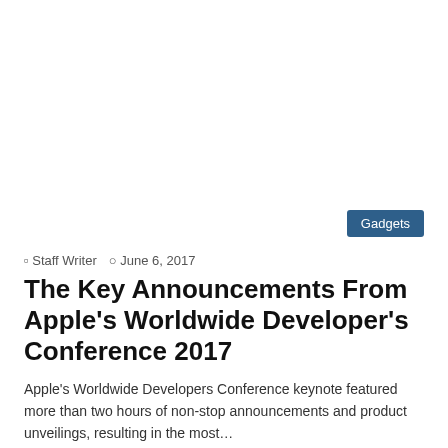[Figure (other): White space / advertisement area at top of page]
Gadgets
Staff Writer  June 6, 2017
The Key Announcements From Apple's Worldwide Developer's Conference 2017
Apple's Worldwide Developers Conference keynote featured more than two hours of non-stop announcements and product unveilings, resulting in the most…
Read More »
Photo of Apple adds more gender diverse emoji in iOS 10